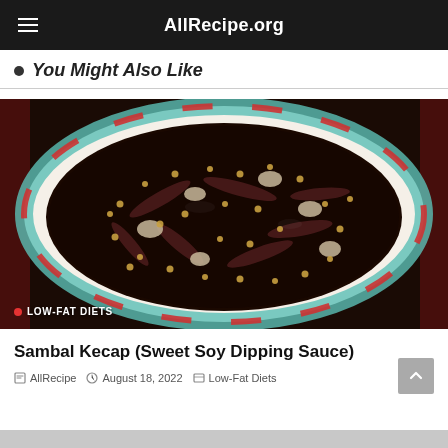AllRecipe.org
You Might Also Like
[Figure (photo): A decorative Chinese-style bowl filled with dark soy sauce-based dipping sauce (Sambal Kecap) with dried chilies, onions, and spices floating in it. The bowl has a teal and red floral pattern on the rim.]
LOW-FAT DIETS
Sambal Kecap (Sweet Soy Dipping Sauce)
AllRecipe  August 18, 2022  Low-Fat Diets